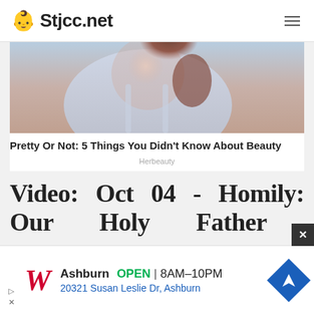Stjcc.net
[Figure (photo): Photo of a woman in a light gray sleeveless dress with dark auburn hair]
Pretty Or Not: 5 Things You Didn't Know About Beauty
Herbeauty
Video: Oct 04 - Homily: Our Holy Father St Francis (Assisi 2023)
[Figure (infographic): Walgreens advertisement: Ashburn OPEN 8AM-10PM, 20321 Susan Leslie Dr, Ashburn]